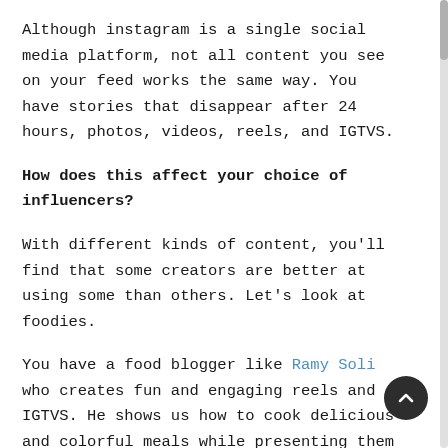Although instagram is a single social media platform, not all content you see on your feed works the same way. You have stories that disappear after 24 hours, photos, videos, reels, and IGTVS.
How does this affect your choice of influencers?
With different kinds of content, you'll find that some creators are better at using some than others. Let's look at foodies.
You have a food blogger like Ramy Soli who creates fun and engaging reels and IGTVS. He shows us how to cook delicious and colorful meals while presenting them in beautiful trays